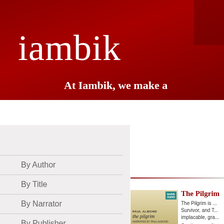iambik
At Iambik, we make a
By Author
By Title
By Narrator
By Publisher
[Figure (illustration): Book cover for 'the pilgrim' by Paul Almond, audiobook edition, with iambik publisher badge]
The Pilgrim
The Pilgrim is ... Survivor, and T... implacable, gra...
Continue readi...